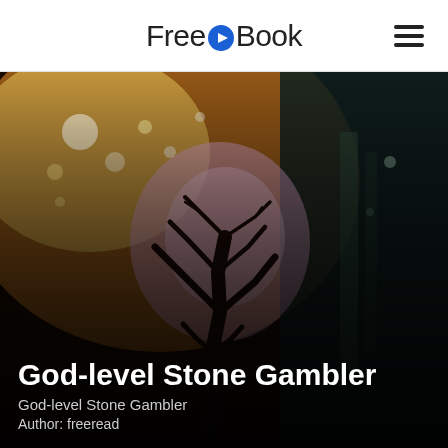FreeOBook
[Figure (illustration): Fantasy book cover art showing a dark bare tree silhouette against a glowing pink/purple orb of light, with warm orange and golden bokeh lights in the background. The scene is dark and atmospheric with teal shadows on the right side.]
God-level Stone Gambler
God-level Stone Gambler
Author: freeread